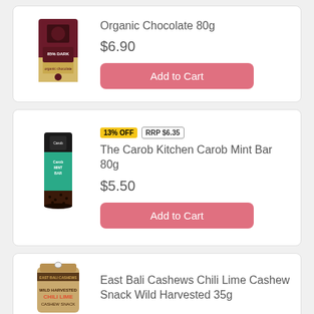[Figure (photo): 85% Dark Organic Chocolate 80g product packaging - dark maroon/purple wrapper]
Organic Chocolate 80g
$6.90
Add to Cart
13% OFF
RRP $6.35
[Figure (photo): The Carob Kitchen Carob Mint Bar 80g - teal green and dark chocolate bar packaging]
The Carob Kitchen Carob Mint Bar 80g
$5.50
Add to Cart
[Figure (photo): East Bali Cashews Chili Lime Cashew Snack Wild Harvested 35g - kraft paper bag packaging]
East Bali Cashews Chili Lime Cashew Snack Wild Harvested 35g